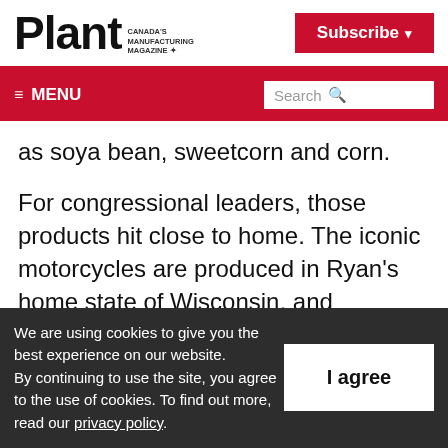Plant — Canada's Manufacturing Magazine
Subscribe ▾
≡ MENU   Search 🔍
as soya bean, sweetcorn and corn.
For congressional leaders, those products hit close to home. The iconic motorcycles are produced in Ryan's home state of Wisconsin, and Kentucky, the home of Senate Majority Leader Mitch McConnell, is well known for its
We are using cookies to give you the best experience on our website.
By continuing to use the site, you agree to the use of cookies. To find out more, read our privacy policy.
I agree